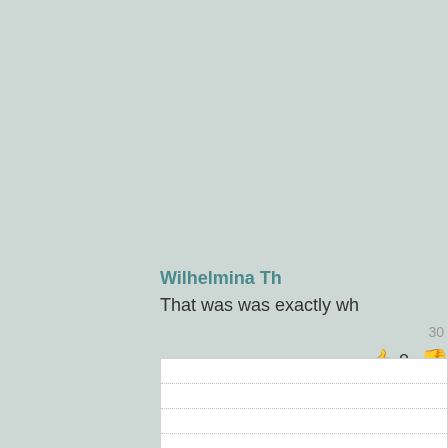Wilhelmina Th
That was was exactly wh
30
👍 0 👎
|  |
|  |
|  |
|  |
|  |